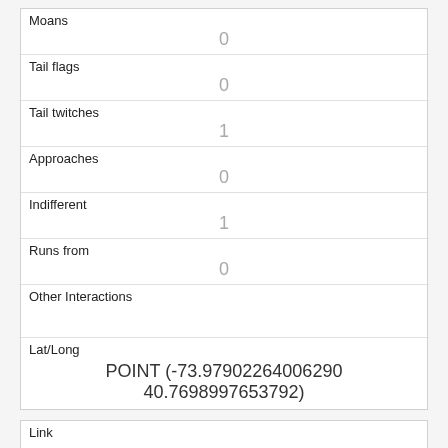| Moans | 0 |
| Tail flags | 0 |
| Tail twitches | 1 |
| Approaches | 0 |
| Indifferent | 1 |
| Runs from | 0 |
| Other Interactions |  |
| Lat/Long | POINT (-73.97902264006290 40.7698997653792) |
| Link | 1235 |
| rowid | 1235 |